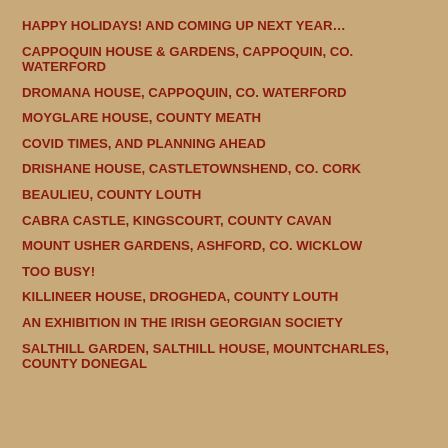HAPPY HOLIDAYS! AND COMING UP NEXT YEAR…
CAPPOQUIN HOUSE & GARDENS, CAPPOQUIN, CO. WATERFORD
DROMANA HOUSE, CAPPOQUIN, CO. WATERFORD
MOYGLARE HOUSE, COUNTY MEATH
COVID TIMES, AND PLANNING AHEAD
DRISHANE HOUSE, CASTLETOWNSHEND, CO. CORK
BEAULIEU, COUNTY LOUTH
CABRA CASTLE, KINGSCOURT, COUNTY CAVAN
MOUNT USHER GARDENS, ASHFORD, CO. WICKLOW
TOO BUSY!
KILLINEER HOUSE, DROGHEDA, COUNTY LOUTH
AN EXHIBITION IN THE IRISH GEORGIAN SOCIETY
SALTHILL GARDEN, SALTHILL HOUSE, MOUNTCHARLES, COUNTY DONEGAL